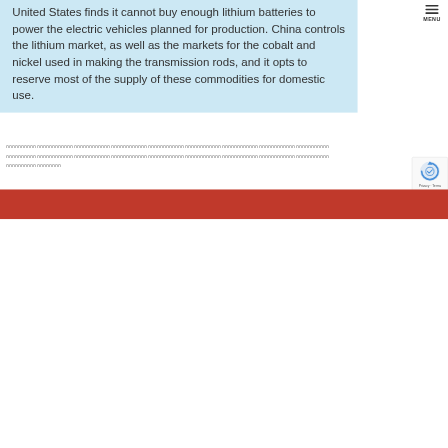United States finds it cannot buy enough lithium batteries to power the electric vehicles planned for production. China controls the lithium market, as well as the markets for the cobalt and nickel used in making the transmission rods, and it opts to reserve most of the supply of these commodities for domestic use.
[Thai script text block - three lines of Thai language content]
[Figure (other): reCAPTCHA widget with circular arrow logo and 'Privacy · Terms' text]
[Red footer bar at bottom of page]